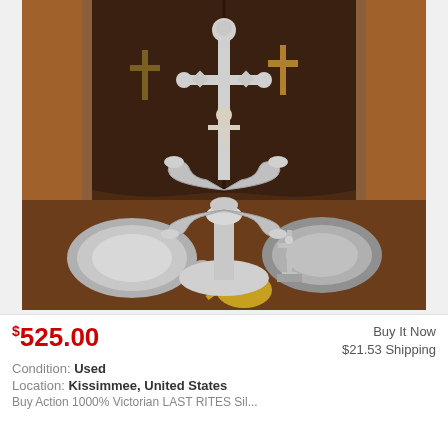[Figure (photo): Product photo showing religious items: a large silver candelabra with crucifix topper, a wooden cabinet with cross decorations in background, two silver plates, a small crucifix figurine, a gold-colored ladle/scoop, and a small spoon, all arranged on a wooden surface.]
$525.00
Buy It Now
$21.53 Shipping
Condition: Used
Location: Kissimmee, United States
Buy Action 1000% Victorian LAST RITES Sil...